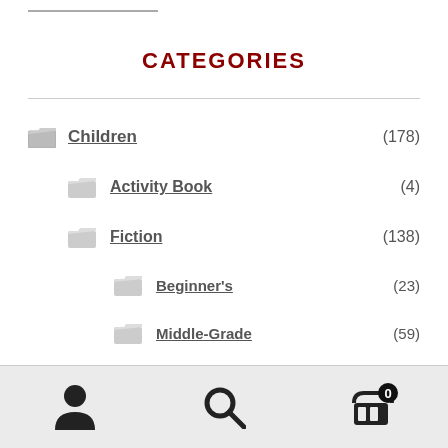CATEGORIES
Children (178)
Activity Book (4)
Fiction (138)
Beginner's (23)
Middle-Grade (59)
Picture Book (60)
Non-Fiction (40)
Events (2)